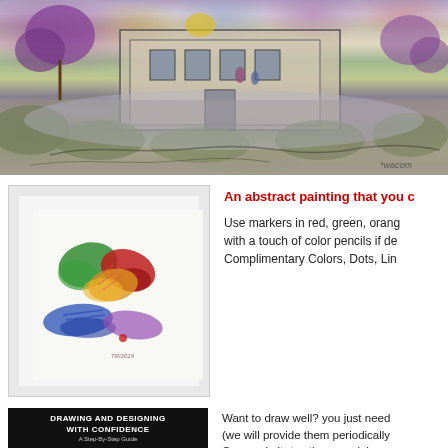[Figure (illustration): Colorful architectural landscape sketch/rendering showing a building exterior with purple trees, yellow flowers, green foliage, and people, done in marker and watercolor style. Signed 'wacom' in lower right.]
[Figure (photo): Photograph of an abstract painting with colorful marker strokes in red, green, orange, yellow, blue, and purple on white paper, framed in white mat. Signed 'TR/2019'.]
An abstract painting that you c
Use markers in red, green, orang with a touch of color pencils if de Complimentary Colors, Dots, Lin
[Figure (photo): Book cover for 'Drawing and Designing with Confidence: A Step-By-Step Guide' on black background with white text.]
Want to draw well? you just need (we will provide them periodically Copy or imitate other people's go
Sign in to chat!